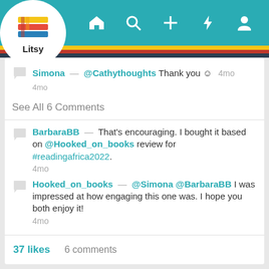[Figure (screenshot): Litsy app logo with colorful stacked books icon and 'Litsy' text below]
[Figure (screenshot): Litsy app navigation bar with home, search, add, activity, and profile icons on teal background with yellow, red, and dark stripes below]
Simona — @Cathythoughts Thank you ☺ 4mo
See All 6 Comments
BarbaraBB — That's encouraging. I bought it based on @Hooked_on_books review for #readingafrica2022. 4mo
Hooked_on_books — @Simona @BarbaraBB I was impressed at how engaging this one was. I hope you both enjoy it! 4mo
37 likes   6 comments